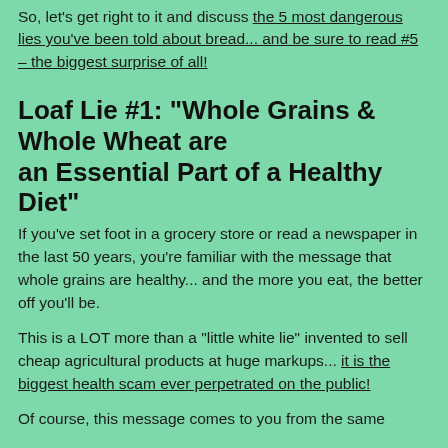So, let's get right to it and discuss the 5 most dangerous lies you've been told about bread... and be sure to read #5 – the biggest surprise of all!
Loaf Lie #1: "Whole Grains & Whole Wheat are an Essential Part of a Healthy Diet"
If you've set foot in a grocery store or read a newspaper in the last 50 years, you're familiar with the message that whole grains are healthy... and the more you eat, the better off you'll be.
This is a LOT more than a "little white lie" invented to sell cheap agricultural products at huge markups... it is the biggest health scam ever perpetrated on the public!
Of course, this message comes to you from the same